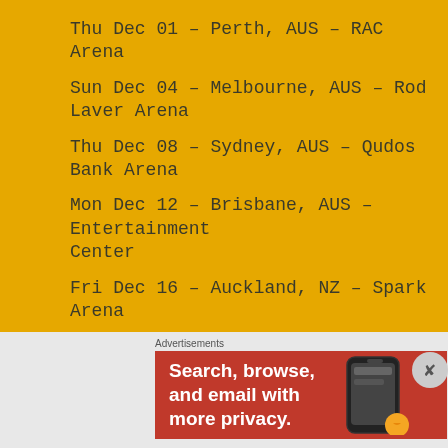Thu Dec 01 – Perth, AUS – RAC Arena
Sun Dec 04 – Melbourne, AUS – Rod Laver Arena
Thu Dec 08 – Sydney, AUS – Qudos Bank Arena
Mon Dec 12 – Brisbane, AUS – Entertainment Center
Fri Dec 16 – Auckland, NZ – Spark Arena
Advertisements
[Figure (illustration): Blue advertisement banner with cartoon character holding a phone, two notebook icons on either side, and partial text 'DAY ONE' at the bottom]
Advertisements
[Figure (screenshot): Red DuckDuckGo advertisement banner with text 'Search, browse, and email with more privacy.' and a phone mockup on the right]